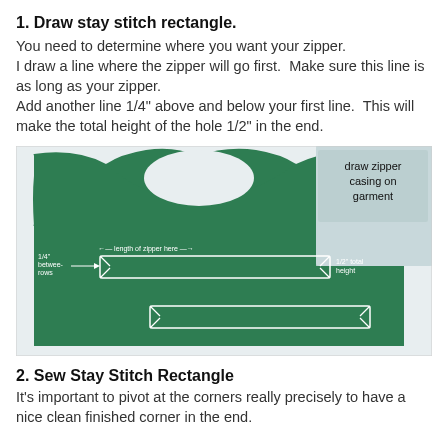1. Draw stay stitch rectangle.
You need to determine where you want your zipper.
I draw a line where the zipper will go first.  Make sure this line is as long as your zipper.
Add another line 1/4" above and below your first line.  This will make the total height of the hole 1/2" in the end.
[Figure (photo): A green garment fabric piece laid flat with white drawn rectangles indicating zipper casing placement. Annotations label 'draw zipper casing on garment', '1/4" between rows', 'length of zipper here', and '1/2" total height'. Two rectangles with diagonal corner marks are drawn on the fabric.]
2. Sew Stay Stitch Rectangle
It's important to pivot at the corners really precisely to have a nice clean finished corner in the end.